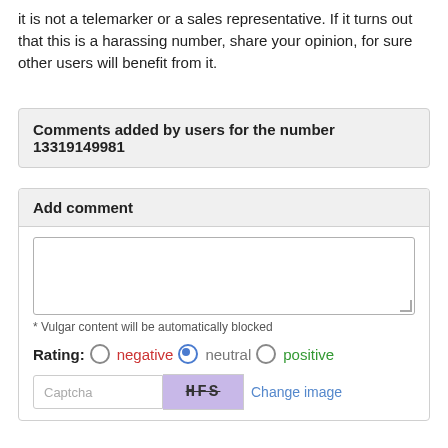it is not a telemarker or a sales representative. If it turns out that this is a harassing number, share your opinion, for sure other users will benefit from it.
Comments added by users for the number 13319149981
Add comment
* Vulgar content will be automatically blocked
Rating: negative  neutral  positive
Captcha  HFS  Change image